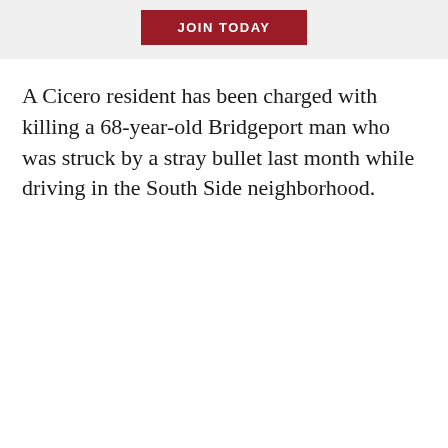[Figure (other): Red button with white bold text reading JOIN TODAY on a light gray banner background]
A Cicero resident has been charged with killing a 68-year-old Bridgeport man who was struck by a stray bullet last month while driving in the South Side neighborhood.